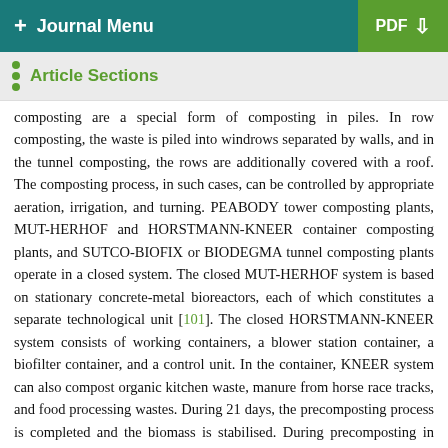+ Journal Menu | PDF
Article Sections
composting are a special form of composting in piles. In row composting, the waste is piled into windrows separated by walls, and in the tunnel composting, the rows are additionally covered with a roof. The composting process, in such cases, can be controlled by appropriate aeration, irrigation, and turning. PEABODY tower composting plants, MUT-HERHOF and HORSTMANN-KNEER container composting plants, and SUTCO-BIOFIX or BIODEGMA tunnel composting plants operate in a closed system. The closed MUT-HERHOF system is based on stationary concrete-metal bioreactors, each of which constitutes a separate technological unit [101]. The closed HORSTMANN-KNEER system consists of working containers, a blower station container, a biofilter container, and a control unit. In the container, KNEER system can also compost organic kitchen waste, manure from horse race tracks, and food processing wastes. During 21 days, the precomposting process is completed and the biomass is stabilised. During precomposting in biomass, the pathogenic bacteria die off and the odours